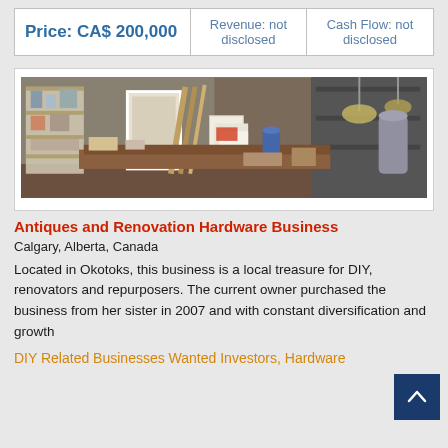| Price | Revenue | Cash Flow |
| --- | --- | --- |
| Price: CA$ 200,000 | Revenue: not disclosed | Cash Flow:  not disclosed |
[Figure (photo): Interior of an antiques and renovation hardware store, cluttered with various items, shelves, and equipment]
Antiques and Renovation Hardware Business
Calgary, Alberta, Canada
Located in Okotoks, this business is a local treasure for DIY, renovators and repurposers. The current owner purchased the business from her sister in 2007 and with constant diversification and growth
DIY Related Businesses Wanted Investors, Hardware